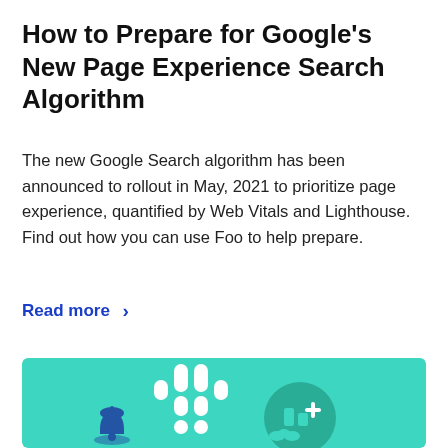How to Prepare for Google's New Page Experience Search Algorithm
The new Google Search algorithm has been announced to rollout in May, 2021 to prioritize page experience, quantified by Web Vitals and Lighthouse. Find out how you can use Foo to help prepare.
Read more >
[Figure (illustration): Teal/mint background illustration featuring a white Slack-like grid logo, a dark teal circle with a building/shield icon with a plus sign, and a blue bell icon in the foreground.]